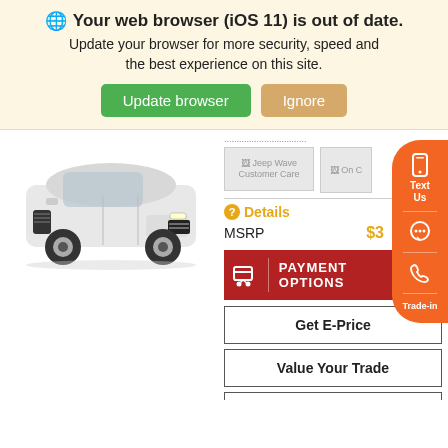Your web browser (iOS 11) is out of date.
Update your browser for more security, speed and the best experience on this site.
Update browser | Ignore
[Figure (photo): White Jeep Compass SUV front three-quarter view]
[Figure (other): Jeep Wave Customer Care badge image (broken)]
[Figure (other): On Certified badge image (broken, partially visible)]
Details
MSRP   $3...
PAYMENT OPTIONS
Get E-Price
Value Your Trade
Get Pre-Qualified
Text Us
Trade-in